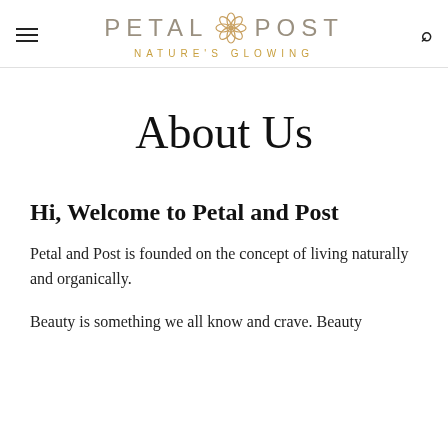PETAL POST — NATURE'S GLOWING
About Us
Hi, Welcome to Petal and Post
Petal and Post is founded on the concept of living naturally and organically.
Beauty is something we all know and crave. Beauty